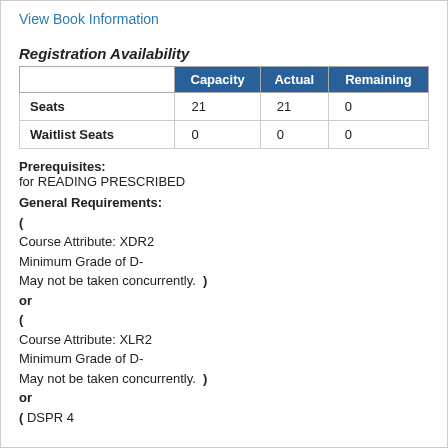View Book Information
Registration Availability
|  | Capacity | Actual | Remaining |
| --- | --- | --- | --- |
| Seats | 21 | 21 | 0 |
| Waitlist Seats | 0 | 0 | 0 |
Prerequisites:
for READING PRESCRIBED
General Requirements:
(
Course Attribute: XDR2
Minimum Grade of D-
May not be taken concurrently.  )
or
(
Course Attribute: XLR2
Minimum Grade of D-
May not be taken concurrently.  )
or
( DSPR 4